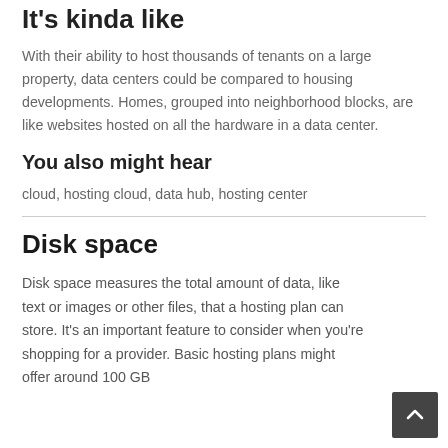It's kinda like
With their ability to host thousands of tenants on a large property, data centers could be compared to housing developments. Homes, grouped into neighborhood blocks, are like websites hosted on all the hardware in a data center.
You also might hear
cloud, hosting cloud, data hub, hosting center
Disk space
Disk space measures the total amount of data, like text or images or other files, that a hosting plan can store. It's an important feature to consider when you're shopping for a provider. Basic hosting plans might offer around 100 GB